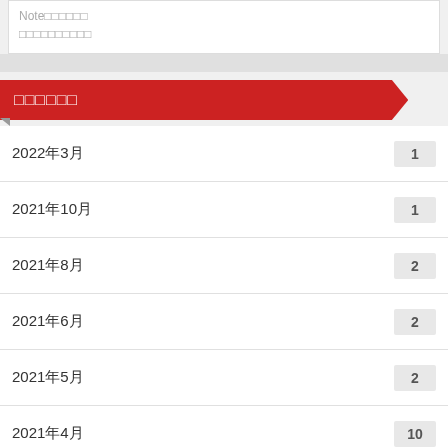Note□□□□□□
□□□□□□□□□□
□□□□□□
2022年3月 1
2021年10月 1
2021年8月 2
2021年6月 2
2021年5月 2
2021年4月 10
2021年3月 34